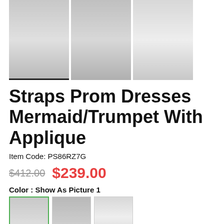[Figure (photo): Three product thumbnail images of a white mermaid/trumpet prom dress with applique, shown from different angles. First image is selected (indicated by underline).]
Straps Prom Dresses Mermaid/Trumpet With Applique
Item Code: PS86RZ7G
$412.00  $239.00
Color : Show As Picture 1
[Figure (photo): Color swatches showing dress options: three larger swatches (white/gray dress photos) with first one selected (green checkmark), and four smaller fabric swatches below (white, light gray, tan/nude, pink).]